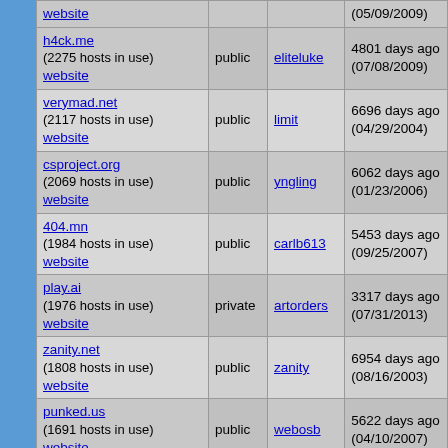| Domain | Type | Owner | Created |
| --- | --- | --- | --- |
| website |  |  | (05/09/2009) |
| h4ck.me
(2275 hosts in use)
website | public | eliteluke | 4801 days ago
(07/08/2009) |
| verymad.net
(2117 hosts in use)
website | public | limit | 6696 days ago
(04/29/2004) |
| csproject.org
(2069 hosts in use)
website | public | yngling | 6062 days ago
(01/23/2006) |
| 404.mn
(1984 hosts in use)
website | public | carlb613 | 5453 days ago
(09/25/2007) |
| play.ai
(1976 hosts in use)
website | private | artorders | 3317 days ago
(07/31/2013) |
| zanity.net
(1808 hosts in use)
website | public | zanity | 6954 days ago
(08/16/2003) |
| punked.us
(1691 hosts in use)
website | public | webosb | 5622 days ago
(04/10/2007) |
| homelinuxserver.org
(1581 hosts in use)
website | public | snrunnels | 3310 days ago
(08/07/2013) |
| uk.ms
(1526 hosts in use)
website | public | wozie | 3025 days ago
(05/18/2014) |